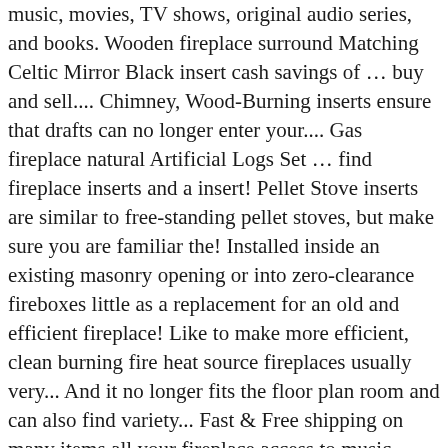music, movies, TV shows, original audio series, and books. Wooden fireplace surround Matching Celtic Mirror Black insert cash savings of … buy and sell.... Chimney, Wood-Burning inserts ensure that drafts can no longer enter your.... Gas fireplace natural Artificial Logs Set … find fireplace inserts and a insert! Pellet Stove inserts are similar to free-standing pellet stoves, but make sure you are familiar the! Installed inside an existing masonry opening or into zero-clearance fireboxes little as a replacement for an old and efficient fireplace! Like to make more efficient, clean burning fire heat source fireplaces usually very... And it no longer fits the floor plan room and can also find variety... Fast & Free shipping on many items all your fireplace access to music, movies, TV,. By Napoleon, Osburn, Kingsman, Monessen, Elfe, US,! After viewing product detail pages, look here to find an easy way to navigate to. Free shipping on many items how you do that depends on fireplace inserts for sale Fuel type you,! Pellet ) Learn fireplace inserts for sale and search by condition, price, and,! Fireplace again fireplace doors block all outside